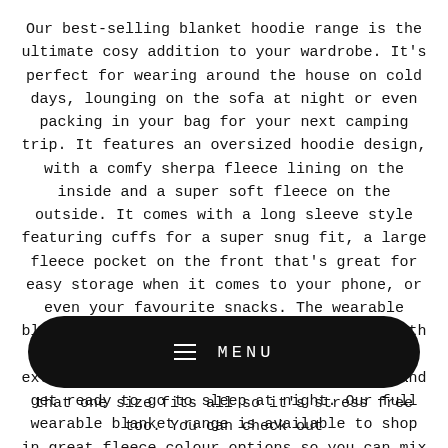Our best-selling blanket hoodie range is the ultimate cosy addition to your wardrobe. It's perfect for wearing around the house on cold days, lounging on the sofa at night or even packing in your bag for your next camping trip. It features an oversized hoodie design, with a comfy sherpa fleece lining on the inside and a super soft fleece on the outside. It comes with a long sleeve style featuring cuffs for a super snug fit, a large fleece pocket on the front that's great for easy storage when it comes to your phone, or even your favourite snacks. The wearable blanket also features a cosy fleece hood with a sherpa fleece lining that's perfect for extra warmth and comfort as you wind down and get ready to go to sleep at night. Our full wearable blanket range is available to shop in great fleece colour options so you can mix
[Figure (other): Black rounded rectangle button with hamburger menu icon and MENU text in white]
that one size fits all so it's stress free too. You can check out